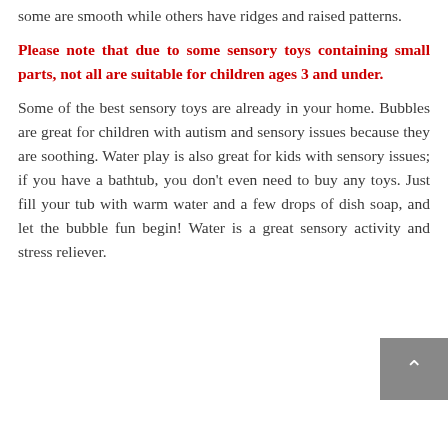some are smooth while others have ridges and raised patterns.
Please note that due to some sensory toys containing small parts, not all are suitable for children ages 3 and under.
Some of the best sensory toys are already in your home. Bubbles are great for children with autism and sensory issues because they are soothing. Water play is also great for kids with sensory issues; if you have a bathtub, you don't even need to buy any toys. Just fill your tub with warm water and a few drops of dish soap, and let the bubble fun begin! Water is a great sensory activity and stress reliever.